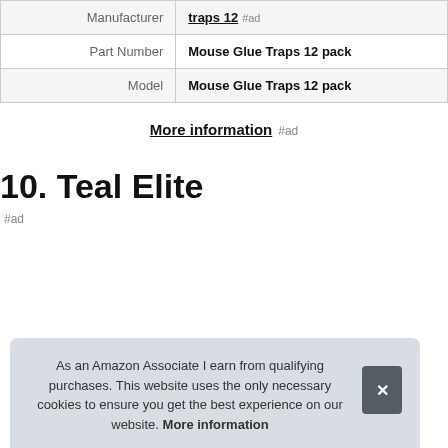| Label | Value |
| --- | --- |
| Manufacturer | traps 12 #ad |
| Part Number | Mouse Glue Traps 12 pack |
| Model | Mouse Glue Traps 12 pack |
More information #ad
10. Teal Elite
#ad
As an Amazon Associate I earn from qualifying purchases. This website uses the only necessary cookies to ensure you get the best experience on our website. More information